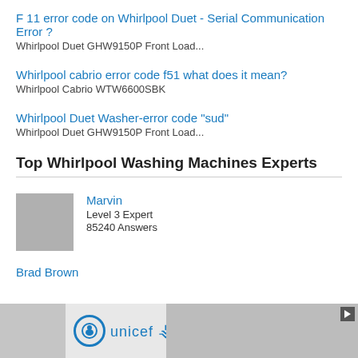F 11 error code on Whirlpool Duet - Serial Communication Error ?
Whirlpool Duet GHW9150P Front Load...
Whirlpool cabrio error code f51 what does it mean?
Whirlpool Cabrio WTW6600SBK
Whirlpool Duet Washer-error code "sud"
Whirlpool Duet GHW9150P Front Load...
Top Whirlpool Washing Machines Experts
Marvin
Level 3 Expert
85240 Answers
Brad Brown
[Figure (photo): UNICEF advertisement banner with logo and photo of children]